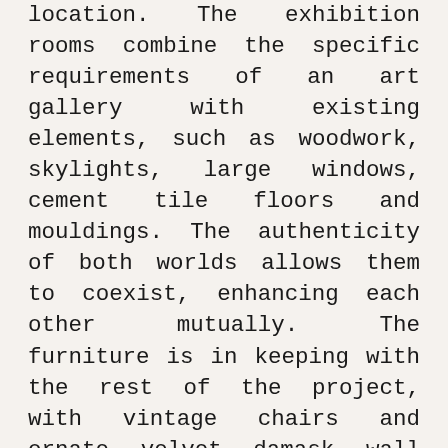location. The exhibition rooms combine the specific requirements of an art gallery with existing elements, such as woodwork, skylights, large windows, cement tile floors and mouldings. The authenticity of both worlds allows them to coexist, enhancing each other mutually. The furniture is in keeping with the rest of the project, with vintage chairs and ornate velvet damask wall hangings, combined with pared-down white walls, typical of Mallorcan patios, giving a touch of cosmopolitan extravagance. It is a place where cultures, ambiences, flavours, aromas and sounds intermingle, alongside the radicalism of today's most avant-garde art.
Sadrassana restaurant offers a menu